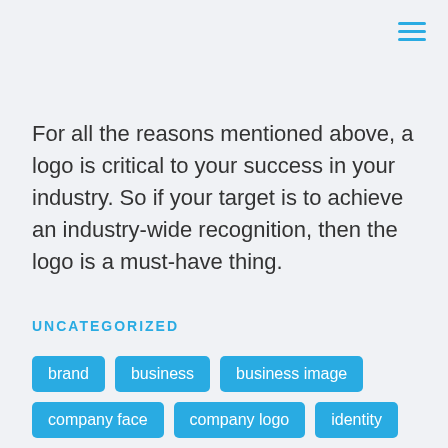[Figure (other): Hamburger menu icon with three horizontal cyan lines in the top-right corner]
For all the reasons mentioned above, a logo is critical to your success in your industry. So if your target is to achieve an industry-wide recognition, then the logo is a must-have thing.
UNCATEGORIZED
brand
business
business image
company face
company logo
identity
important
logo